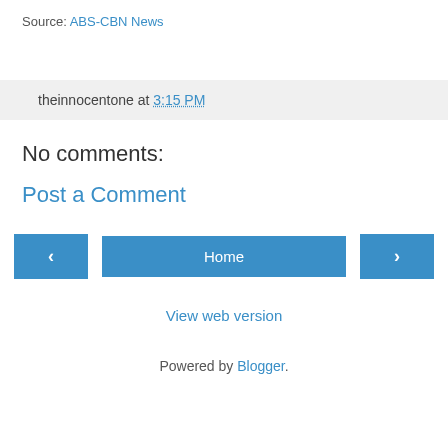Source: ABS-CBN News
theinnocentone at 3:15 PM
No comments:
Post a Comment
< Home >
View web version
Powered by Blogger.